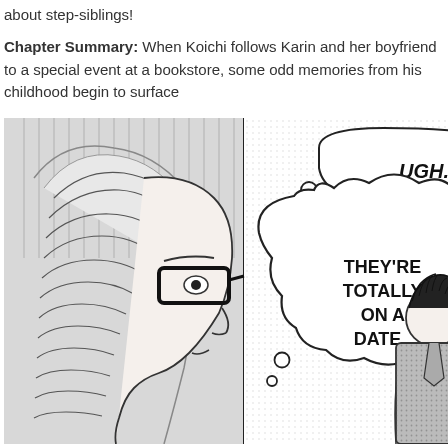about step-siblings!
Chapter Summary: When Koichi follows Karin and her boyfriend to a special event at a bookstore, some odd memories from his childhood begin to surface
[Figure (illustration): Manga panel showing a character with glasses and light hair on the left side, with thought bubbles. Small bubble says 'UGH.' Large bubble says 'THEY'RE TOTALLY ON A DATE...' In the right portion, two characters (a boy with dark hair in a jacket and a girl with light hair) are standing together viewed from behind.]